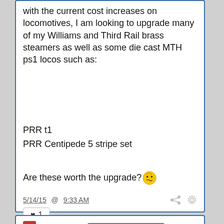with the current cost increases on locomotives, I am looking to upgrade many of my Williams and Third Rail brass steamers as well as some die cast MTH ps1 locos such as:
PRR t1
PRR Centipede 5 stripe set
Are these worth the upgrade? 🤔
5/14/15  @  9:33 AM
♥  1
HJ  Hudson J1e  DIGITAL SUBSCRIBER  MEMORIAL SUPPORTER
GGG, just curious but does the board have to